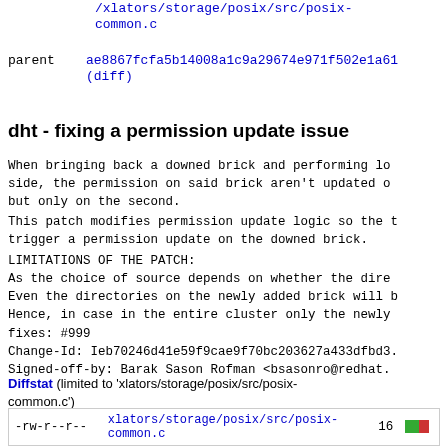/xlators/storage/posix/src/posix-common.c
parent   ae8867fcfa5b14008a1c9a29674e971f502e1a61 (diff)
dht - fixing a permission update issue
When bringing back a downed brick and performing lo... side, the permission on said brick aren't updated o... but only on the second.
This patch modifies permission update logic so the t... trigger a permission update on the downed brick.
LIMITATIONS OF THE PATCH:
As the choice of source depends on whether the dire...
Even the directories on the newly added brick will b...
Hence, in case in the entire cluster only the newly...
fixes: #999
Change-Id: Ieb70246d41e59f9cae9f70bc203627a433dfbd3...
Signed-off-by: Barak Sason Rofman <bsasonro@redhat....
Diffstat (limited to 'xlators/storage/posix/src/posix-common.c')
| permissions | file | changes | bars |
| --- | --- | --- | --- |
| -rw-r--r-- | xlators/storage/posix/src/posix-common.c | 16 | █ bar |
1 files changed, 6 insertions, 10 deletions